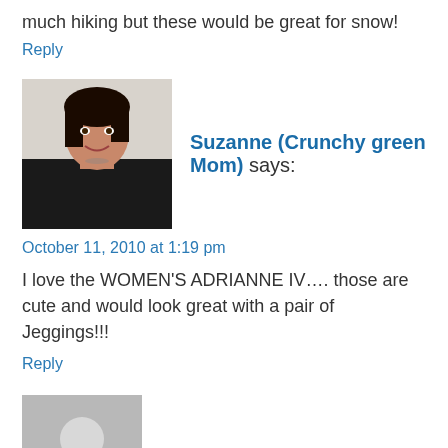much hiking but these would be great for snow!
Reply
[Figure (photo): Avatar photo of Suzanne (Crunchy green Mom), a woman with dark hair wearing a dark jacket, smiling]
Suzanne (Crunchy green Mom) says:
October 11, 2010 at 1:19 pm
I love the WOMEN'S ADRIANNE IV…. those are cute and would look great with a pair of Jeggings!!!
Reply
[Figure (photo): Generic grey placeholder avatar silhouette for user DEBIJOT]
DEBIJOT says:
October 11, 2010 at 9:00 am